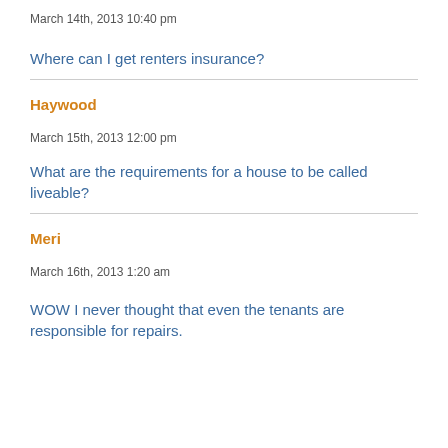March 14th, 2013 10:40 pm
Where can I get renters insurance?
Haywood
March 15th, 2013 12:00 pm
What are the requirements for a house to be called liveable?
Meri
March 16th, 2013 1:20 am
WOW I never thought that even the tenants are responsible for repairs.